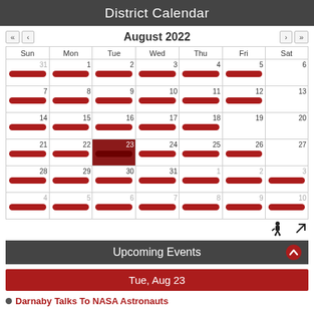District Calendar
August 2022
[Figure (other): Monthly calendar grid for August 2022 with red event bars on multiple days. Day 23 is highlighted as the selected/today date with a dark red background.]
Upcoming Events
Tue, Aug 23
Darnaby Talks To NASA Astronauts